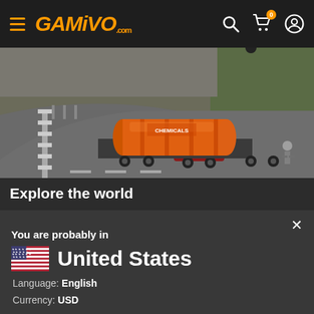[Figure (screenshot): GAMIVO.com website navigation bar with hamburger menu icon, orange GAMIVO logo, search icon, shopping cart icon with badge showing 0, and user account icon]
[Figure (screenshot): Game screenshot showing a truck carrying orange cylindrical tank on a curved road with barriers on the left side]
Explore the world
You are probably in
United States
Language: English
Currency: USD
Switch to the local version of the website?
YES